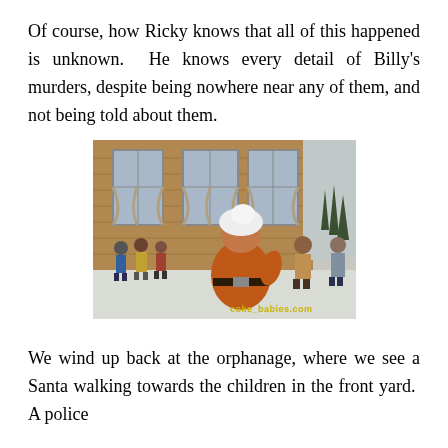Of course, how Ricky knows that all of this happened is unknown. He knows every detail of Billy's murders, despite being nowhere near any of them, and not being told about them.
[Figure (photo): A person dressed as Santa Claus seen from behind, facing a group of children standing in front of a brick building exterior in winter. There is light snow on the ground. Watermark reads coke_babies.com.]
We wind up back at the orphanage, where we see a Santa walking towards the children in the front yard. A police